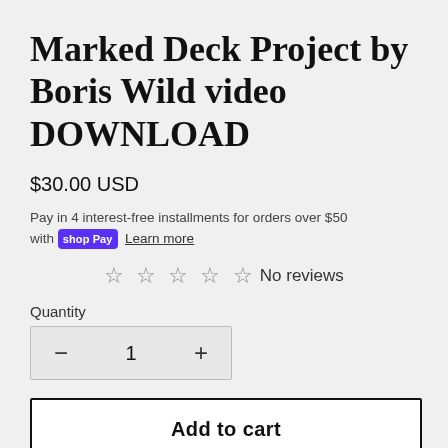Marked Deck Project by Boris Wild video DOWNLOAD
$30.00 USD
Pay in 4 interest-free installments for orders over $50 with shop Pay  Learn more
☆ ☆ ☆ ☆ ☆ No reviews
Quantity
− 1 +
Add to cart